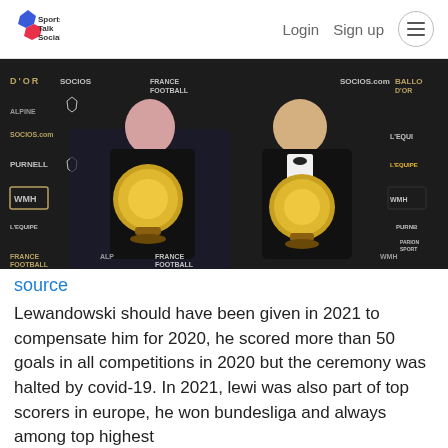Sports Talk Social | Login  Sign up
[Figure (photo): Two people holding Ballon d'Or trophies at an awards ceremony with sponsor logos in the background including France Football, Socios, Alpine, Purnell, WMH, L'Equipe, Parions Sport.]
source
Lewandowski should have been given in 2021 to compensate him for 2020, he scored more than 50 goals in all competitions in 2020 but the ceremony was halted by covid-19. In 2021, lewi was also part of top scorers in europe, he won bundesliga and always among top highest scorers. The point is that we are saying FIFA...